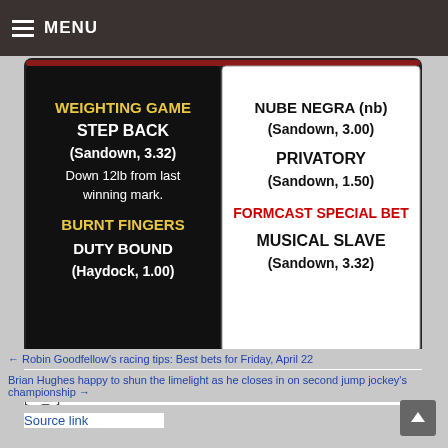MENU
[Figure (other): Racing tips image showing two panels: left black panel with 'WEIGHTING GAME STEP BACK (Sandown, 3.32) Down 12lb from last winning mark. BURNT FINGERS DUTY BOUND (Haydock, 1.00)'; right white panel with 'NUBE NEGRA (nb) (Sandown, 3.00) PRIVATORY (Sandown, 1.50) FORMCAST SPECIAL BET MUSICAL SLAVE (Sandown, 3.32)']
Share or comment on this article:
[ad_2]
Source link
← Robin Goodfellow's racing tips: Best bets for Friday, April 22
Brian Hughes happy to shun the limelight as he closes in on second jump jockey's championship →